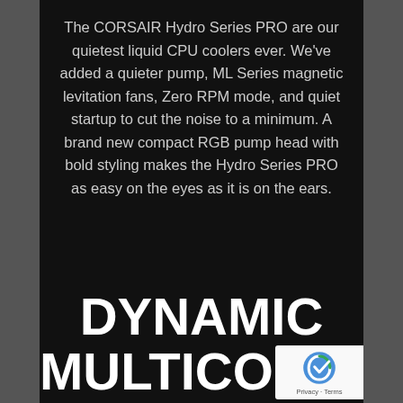The CORSAIR Hydro Series PRO are our quietest liquid CPU coolers ever. We've added a quieter pump, ML Series magnetic levitation fans, Zero RPM mode, and quiet startup to cut the noise to a minimum. A brand new compact RGB pump head with bold styling makes the Hydro Series PRO as easy on the eyes as it is on the ears.
DYNAMIC MULTICOLOR